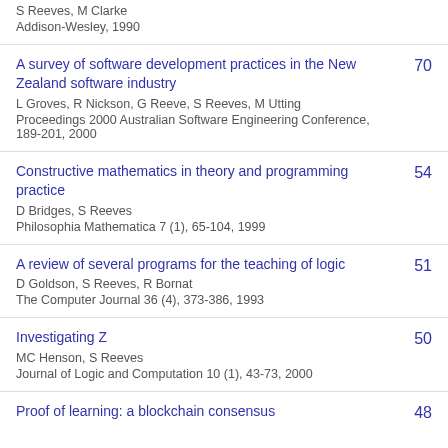S Reeves, M Clarke
Addison-Wesley, 1990
A survey of software development practices in the New Zealand software industry | 70
L Groves, R Nickson, G Reeve, S Reeves, M Utting
Proceedings 2000 Australian Software Engineering Conference, 189-201, 2000
Constructive mathematics in theory and programming practice | 54
D Bridges, S Reeves
Philosophia Mathematica 7 (1), 65-104, 1999
A review of several programs for the teaching of logic | 51
D Goldson, S Reeves, R Bornat
The Computer Journal 36 (4), 373-386, 1993
Investigating Z | 50
MC Henson, S Reeves
Journal of Logic and Computation 10 (1), 43-73, 2000
Proof of learning: a blockchain consensus | 48